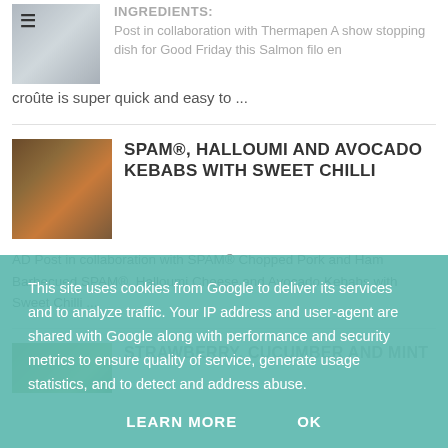[Figure (photo): Partial food photo, top left, with hamburger menu icon overlay]
INGREDIENTS:
Post in collaboration with Thermapen A show stopping dish for Good Friday this Salmon filo en croûte is super quick and easy to ...
[Figure (photo): Photo of SPAM kebabs on a grill plate with vegetables]
SPAM®, HALLOUMI AND AVOCADO KEBABS WITH SWEET CHILLI
AD Post in collaboration with SPAM® Chopped Pork and Ham Barbecued SPAM®, Halloumi Cheese and Avocado Kebabs with Sweet Chilli ...
[Figure (photo): Partial photo of green salad or strawberry dish]
STRAWBERRY, CUCUMBER AND MINT
This site uses cookies from Google to deliver its services and to analyze traffic. Your IP address and user-agent are shared with Google along with performance and security metrics to ensure quality of service, generate usage statistics, and to detect and address abuse.
LEARN MORE    OK